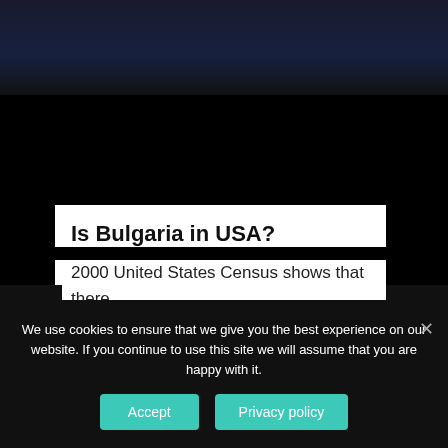[Figure (screenshot): Dark top navigation/header area of a website]
Is Bulgaria in USA?
2000 United States Census shows that there are 63,000 people of Bulgarian descent in the U... According to the same source, the state with the greatest number of Bulgarians is California, followed by Illinois, New York, Florida, Ohio, and Indiana....Bulgarian-born population.
PREVIOUS POST
NEXT POST
We use cookies to ensure that we give you the best experience on our website. If you continue to use this site we will assume that you are happy with it.